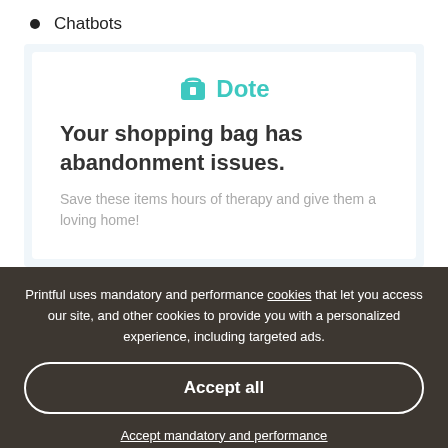Chatbots
[Figure (screenshot): Dote app email screenshot showing shopping bag abandonment message with teal logo, bold heading 'Your shopping bag has abandonment issues.' and subtext 'Save these items hours of therapy and give them a loving home!']
Printful uses mandatory and performance cookies that let you access our site, and other cookies to provide you with a personalized experience, including targeted ads.
Accept all
Accept mandatory and performance